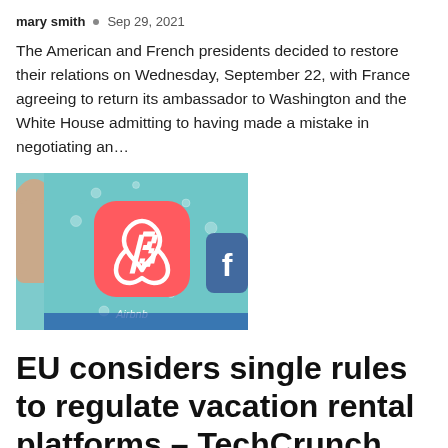mary smith • Sep 29, 2021
The American and French presidents decided to restore their relations on Wednesday, September 22, with France agreeing to return its ambassador to Washington and the White House admitting to having made a mistake in negotiating an…
[Figure (photo): A hand holding a smartphone or tablet displaying the Airbnb app icon on a teal/blue device screen with water droplets visible]
EU considers single rules to regulate vacation rental platforms – TechCrunch
mary smith • Sep 29, 2021